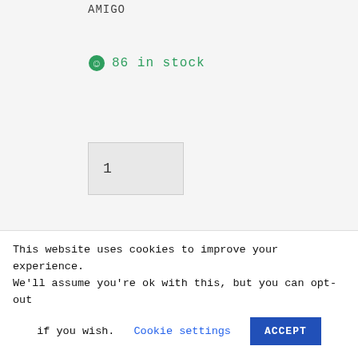AMIGO
86 in stock
1
Buy now
— OR —
Please note that you may experience some delays in delivery due to COVID-19 however we will do our utmost best to minimise your inconvenience.
This website uses cookies to improve your experience. We'll assume you're ok with this, but you can opt-out if you wish. Cookie settings ACCEPT